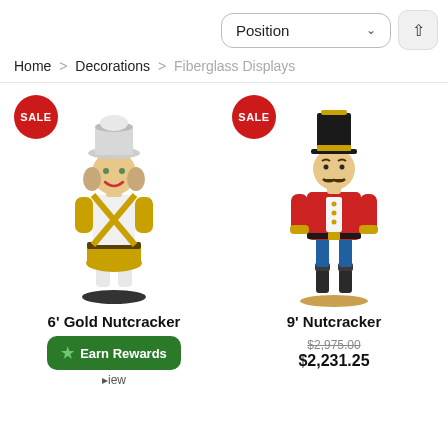Position (dropdown)
Home > Decorations > Fiberglass Displays
[Figure (photo): 6' Gold Nutcracker fiberglass display figure with gold and white costume, with SALE badge]
[Figure (photo): 9' Nutcracker fiberglass display figure with red coat and blue pants, with SALE badge]
6' Gold Nutcracker
9' Nutcracker
Earn Rewards
...view
$2,975.00  $2,231.25